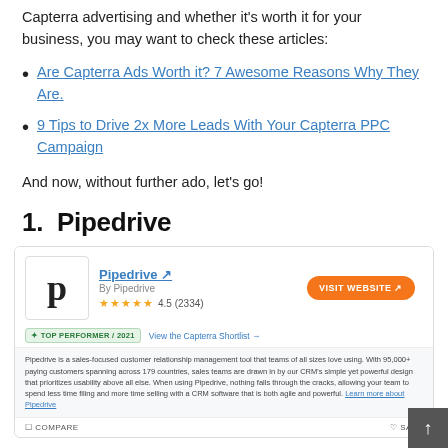Capterra advertising and whether it's worth it for your business, you may want to check these articles:
Are Capterra Ads Worth it? 7 Awesome Reasons Why They Are.
9 Tips to Drive 2x More Leads With Your Capterra PPC Campaign
And now, without further ado, let's go!
1.  Pipedrive
[Figure (screenshot): Pipedrive Capterra listing card showing logo, name, By Pipedrive, 4.5 (2334) star rating, TOP PERFORMER / 2021 badge, View the Capterra Shortlist link, VISIT WEBSITE button, product description, and COMPARE / SAVE footer actions.]